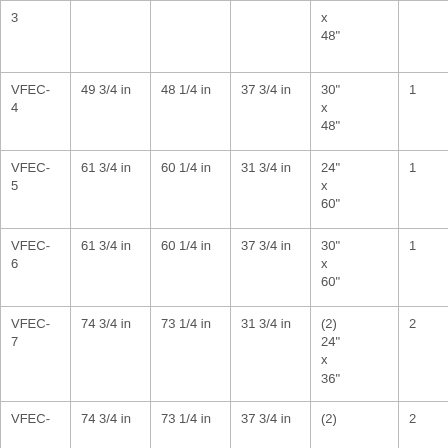| 3 |  |  |  | x
48" |  |
| VFEC-4 | 49 3/4 in | 48 1/4 in | 37 3/4 in | 30"
x
48" | 1 |
| VFEC-5 | 61 3/4 in | 60 1/4 in | 31 3/4 in | 24"
x
60" | 1 |
| VFEC-6 | 61 3/4 in | 60 1/4 in | 37 3/4 in | 30"
x
60" | 1 |
| VFEC-7 | 74 3/4 in | 73 1/4 in | 31 3/4 in | (2)
24"
x
36" | 2 |
| VFEC- | 74 3/4 in | 73 1/4 in | 37 3/4 in | (2) | 2 |